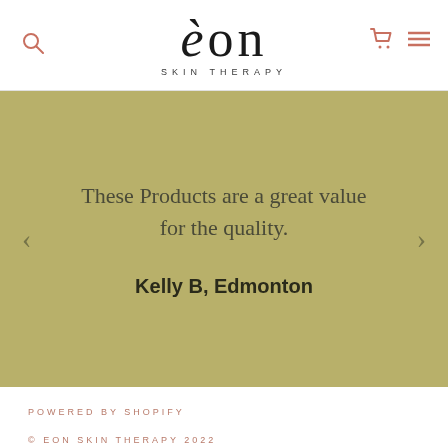eon SKIN THERAPY
These Products are a great value for the quality.
Kelly B, Edmonton
POWERED BY SHOPIFY
© EON SKIN THERAPY 2022